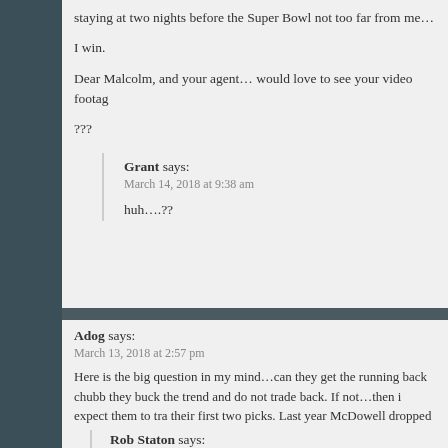staying at two nights before the Super Bowl not too far from me…
I win.
Dear Malcolm, and your agent… would love to see your video footag
???
Grant says:
March 14, 2018 at 9:38 am
huh….??
Adog says:
March 13, 2018 at 2:57 pm
Here is the big question in my mind…can they get the running back chubb they buck the trend and do not trade back. If not…then i expect them to tra their first two picks. Last year McDowell dropped due character concerns… after a trade back…medical flags…and perhaps m.hurst after a so so combin
Rob Staton says:
March 13, 2018 at 3:01 pm
Nick Chubb will not last to round four unfortunately. Won't get close to tha